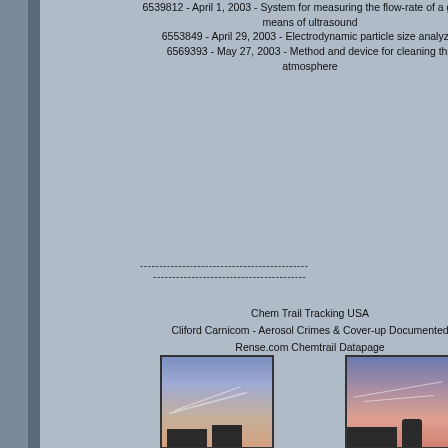6539812 - April 1, 2003 - System for measuring the flow-rate of a gas by means of ultrasound
6553849 - April 29, 2003 - Electrodynamic particle size analyzer
6569393 - May 27, 2003 - Method and device for cleaning the atmosphere
--------------------------------------------
----------------------------------------
Chem Trail Tracking USA
Clifford Carnicom - Aerosol Crimes & Cover-up Documented
Rense.com Chemtrail Datapage
[Figure (photo): Photo of sky with chemtrails, blue to orange sunset gradient, building silhouette at bottom]
[Figure (photo): Photo of sky with chemtrail lines, pink and blue sunset sky, building and tree silhouettes at bottom]